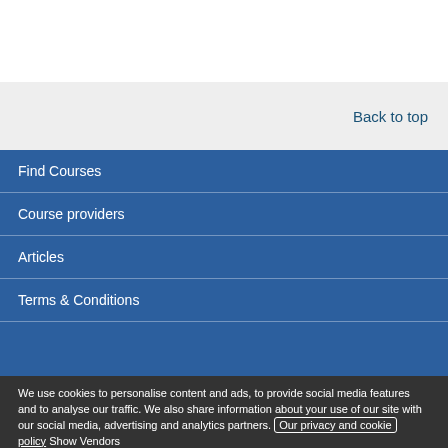Back to top
Find Courses
Course providers
Articles
Terms & Conditions
We use cookies to personalise content and ads, to provide social media features and to analyse our traffic. We also share information about your use of our site with our social media, advertising and analytics partners. Our privacy and cookie policy Show Vendors